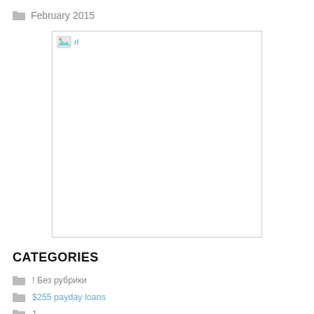February 2015
[Figure (other): Broken image placeholder in a bordered box]
CATEGORIES
! Без рубрики
$255 payday loans
1